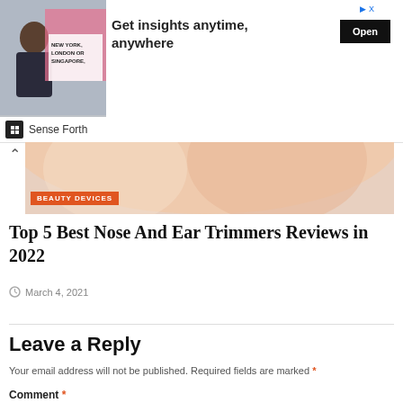[Figure (screenshot): Advertisement banner with a business person photo on the left, text 'NEW YORK, LONDON OR SINGAPORE,' overlay, main text 'Get insights anytime, anywhere' and a black 'Open' button. Sponsored icon and close X in top right.]
Sense Forth
[Figure (photo): Close-up photo of skin/ear area with a pink/beige tone, partially cropped at top. Orange 'BEAUTY DEVICES' badge at bottom left. Up arrow (^) on the left.]
Top 5 Best Nose And Ear Trimmers Reviews in 2022
March 4, 2021
Leave a Reply
Your email address will not be published. Required fields are marked *
Comment *